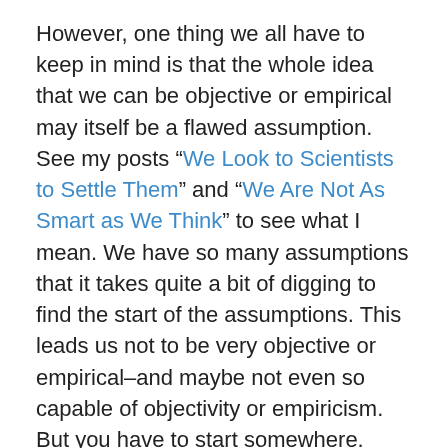However, one thing we all have to keep in mind is that the whole idea that we can be objective or empirical may itself be a flawed assumption.  See my posts “We Look to Scientists to Settle Them” and “We Are Not As Smart as We Think” to see what I mean. We have so many assumptions that it takes quite a bit of digging to find the start of the assumptions. This leads us not to be very objective or empirical–and maybe not even so capable of objectivity or empiricism. But you have to start somewhere.
It occurred to me that the testing of hypotheses is not an exactly new idea.  I was working on a start-up back, well, back a good bit ago, and the Boston Consulting Group guys running the show would list out what they called “testable propositions.”  I don’t know if that was particular to the BCG method, but I do know that as andit...